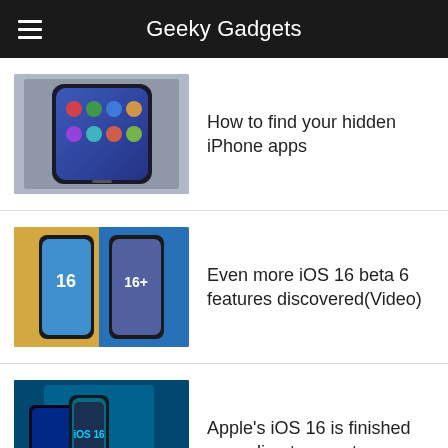Geeky Gadgets
How to find your hidden iPhone apps
Even more iOS 16 beta 6 features discovered(Video)
Apple's iOS 16 is finished according to report
How to connect your old Apple Watch to a new iPhone
What's new